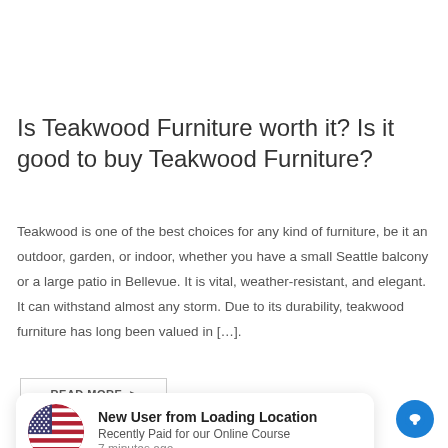Is Teakwood Furniture worth it? Is it good to buy Teakwood Furniture?
Teakwood is one of the best choices for any kind of furniture, be it an outdoor, garden, or indoor, whether you have a small Seattle balcony or a large patio in Bellevue. It is vital, weather-resistant, and elegant. It can withstand almost any storm. Due to its durability, teakwood furniture has long been valued in […].
READ MORE >
[Figure (infographic): Notification popup: US flag circle icon with text 'New User from Loading Location', 'Recently Paid for our Online Course', '7 minutes ago', and a blue chat button in the corner.]